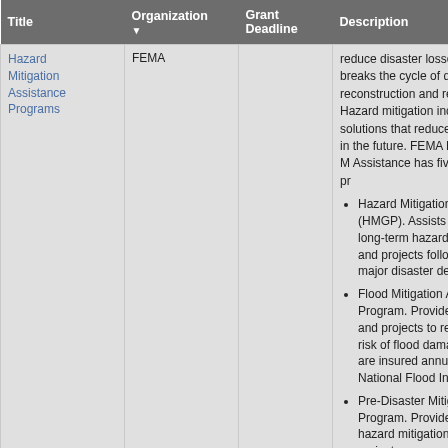| Title | Organization | Grant Deadline | Description |
| --- | --- | --- | --- |
| Hazard Mitigation Assistance Programs | FEMA |  | reduce disaster losses. Mitg...breaks the cycle of disaster reconstruction and repeated... Hazard mitigation includes lo... solutions that reduce the imp... in the future. FEMA Hazard M... Assistance has five grant pr... • Hazard Mitigation Gran... (HMGP). Assists in imp... long-term hazard mitig... and projects following ... major disaster declara... • Flood Mitigation Assist... Program. Provides fun... and projects to reduce ... risk of flood damage to... are insured annually u... National Flood Insuran... • Pre-Disaster Mitigation... Program. Provides fun... hazard mitigation plan... projects. |